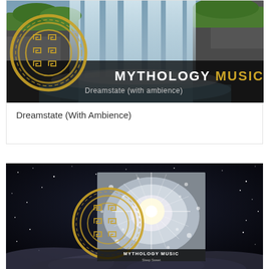[Figure (photo): Album cover for Mythology Music - Dreamstate (with ambience). Shows a waterfall scene with green moss and rocks, with a golden Greek meander circle logo on the left and text overlay reading MYTHOLOGY MUSIC Dreamstate (with ambience) on a dark banner.]
Dreamstate (With Ambience)
[Figure (photo): Album artwork for Mythology Music - Sleep Sweet. Shows a night sky with stars and clouds background. In the center is an album cover displaying a bright starburst light with bokeh effects. The golden Greek meander circle logo is partially visible on the left of the album cover. Text at the bottom reads MYTHOLOGY MUSIC Sleep Sweet.]